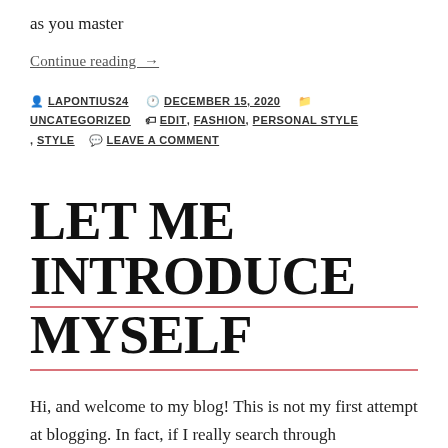as you master
Continue reading →
By LAPONTIUS24  DECEMBER 15, 2020  UNCATEGORIZED  EDIT, FASHION, PERSONAL STYLE, STYLE  LEAVE A COMMENT
LET ME INTRODUCE MYSELF
Hi, and welcome to my blog! This is not my first attempt at blogging. In fact, if I really search through